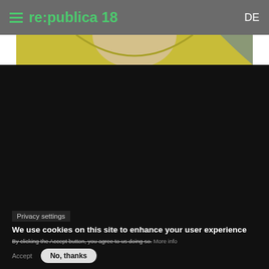re:publica 18  DE
[Figure (photo): Close-up photo of a person wearing a yellow/lime green knit sweater, showing the neck and upper chest area. The face is not visible.]
Ferda Ataman
Sprecherin
Neue Deutsche Organisationen
[Figure (photo): Dark photo showing dark hair against a black background.]
Privacy settings
We use cookies on this site to enhance your user experience
By clicking the Accept button, you agree to us doing so. More info
Accept  No, thanks